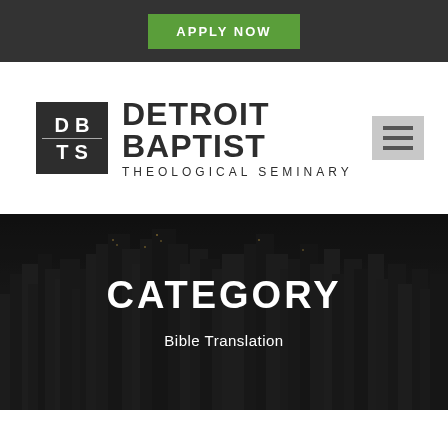APPLY NOW
[Figure (logo): Detroit Baptist Theological Seminary logo with DBTS square icon and seminary name]
CATEGORY
Bible Translation